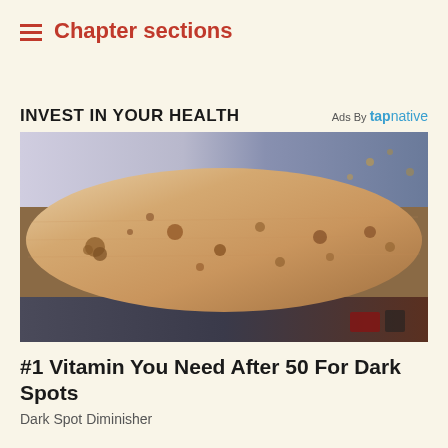Chapter sections
INVEST IN YOUR HEALTH
Ads By tapnative
[Figure (photo): Close-up photograph of an elderly person's forearm showing dark age spots (liver spots) scattered across the skin surface, with a patterned fabric visible in the background.]
#1 Vitamin You Need After 50 For Dark Spots
Dark Spot Diminisher